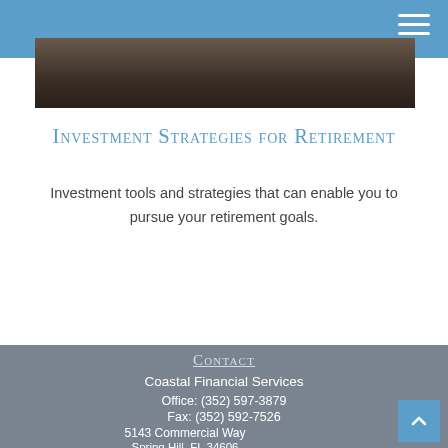[Figure (photo): Partial photo strip of a person, partially obscured]
Investment Strategies for Retirement
Investment tools and strategies that can enable you to pursue your retirement goals.
Contact
Coastal Financial Services
Office: (352) 597-3879
Fax: (352) 592-7526
5143 Commercial Way
Spring Hill, FL 34606
6, 7, 26, 63, 65, FL 215 Life Health and Variable Annuity, and FL Real Estate License